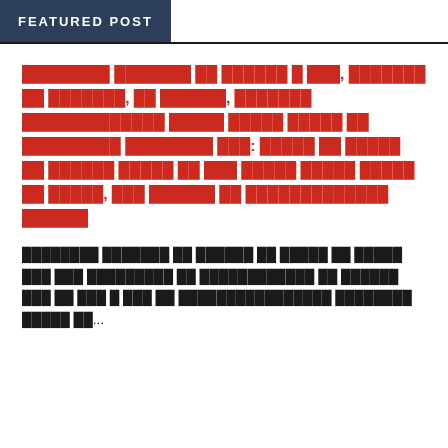FEATURED POST
████████ ███████ ██ ██████ █ ███, ███████ ██ ███████, ██ ██████, ███████ █████████████ █████ █████ █████ ██ █████████ ████████ ███: █████ ██ █████ ██ ██████ █████ ██ ███ █████ █████ █████ ██ █████, ███ ██████ ██ █████████████ ██████
████████ ███████ ██ ██████ ██ █████ ██ █████ ███ ███ █████████ ██ ████████████ ██ ██████ ███ ██ ███ █ ███ ██ ████████████████ ████████ █████ ██...